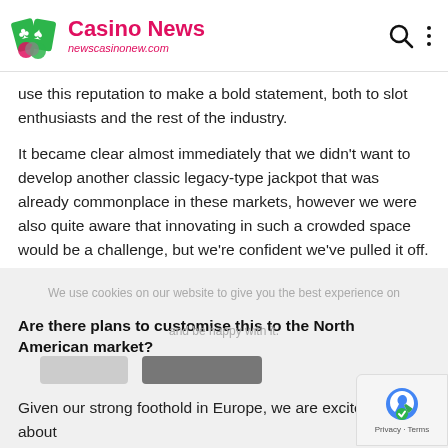Casino News newscasinonew.com
use this reputation to make a bold statement, both to slot enthusiasts and the rest of the industry.
It became clear almost immediately that we didn't want to develop another classic legacy-type jackpot that was already commonplace in these markets, however we were also quite aware that innovating in such a crowded space would be a challenge, but we're confident we've pulled it off.
Are there plans to customise this to the North American market?
Given our strong foothold in Europe, we are excited about